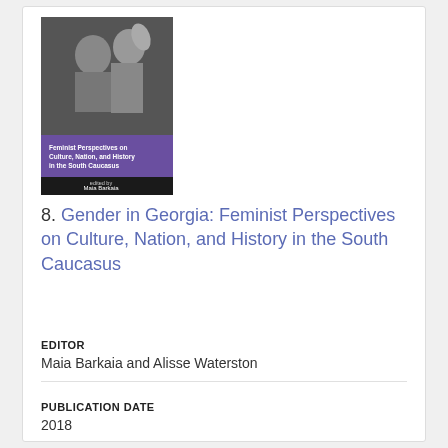[Figure (illustration): Book cover of 'Gender in Georgia: Feminist Perspectives on Culture, Nation, and History in the South Caucasus', edited by Maia Barkaia and Alisse Waterston. Black and white photo of two women on cover with purple band and white text.]
8. Gender in Georgia: Feminist Perspectives on Culture, Nation, and History in the South Caucasus
EDITOR
Maia Barkaia and Alisse Waterston
PUBLICATION DATE
2018